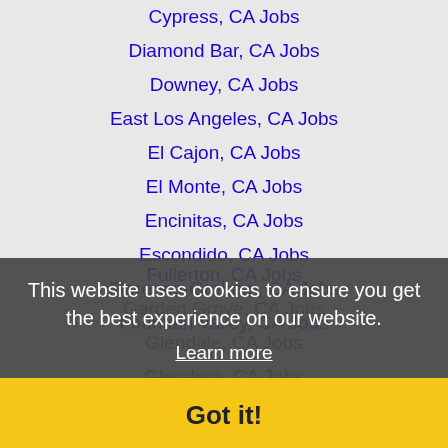Cypress, CA Jobs
Diamond Bar, CA Jobs
Downey, CA Jobs
East Los Angeles, CA Jobs
El Cajon, CA Jobs
El Monte, CA Jobs
Encinitas, CA Jobs
Escondido, CA Jobs
Florence-Graham, CA Jobs
Fountain Valley, CA Jobs
Fullerton, CA Jobs
Garden Grove, CA Jobs
Glendale, CA Jobs
Glendora, CA Jobs
Hacienda Heights, CA Jobs
Hawthorne, CA Jobs
Hemet, CA Jobs
Highland, CA Jobs
This website uses cookies to ensure you get the best experience on our website.
Learn more
Got it!